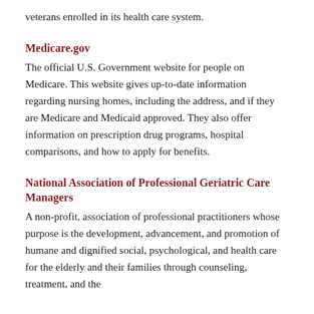veterans enrolled in its health care system.
Medicare.gov
The official U.S. Government website for people on Medicare. This website gives up-to-date information regarding nursing homes, including the address, and if they are Medicare and Medicaid approved. They also offer information on prescription drug programs, hospital comparisons, and how to apply for benefits.
National Association of Professional Geriatric Care Managers
A non-profit, association of professional practitioners whose purpose is the development, advancement, and promotion of humane and dignified social, psychological, and health care for the elderly and their families through counseling, treatment, and the